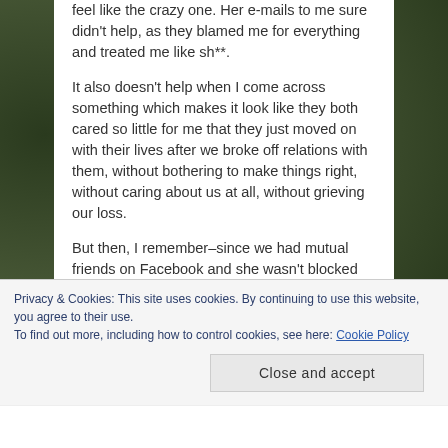feel like the crazy one. Her e-mails to me sure didn't help, as they blamed me for everything and treated me like sh**.
It also doesn't help when I come across something which makes it look like they both cared so little for me that they just moved on with their lives after we broke off relations with them, without bothering to make things right, without caring about us at all, without grieving our loss.
But then, I remember–since we had mutual friends on Facebook and she wasn't blocked
Privacy & Cookies: This site uses cookies. By continuing to use this website, you agree to their use.
To find out more, including how to control cookies, see here: Cookie Policy
Close and accept